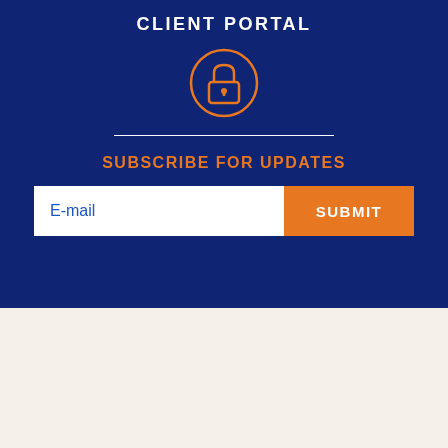CLIENT PORTAL
[Figure (illustration): Orange circle with a padlock icon in the center on a dark blue background]
SUBSCRIBE FOR UPDATES
[Figure (infographic): Email subscription form with white input box labeled E-mail and orange SUBMIT button]
[Figure (logo): Inside Public Accounting Top 100 Firms badge]
[Figure (logo): Accounting Today 2021 Top 100 Firms badge]